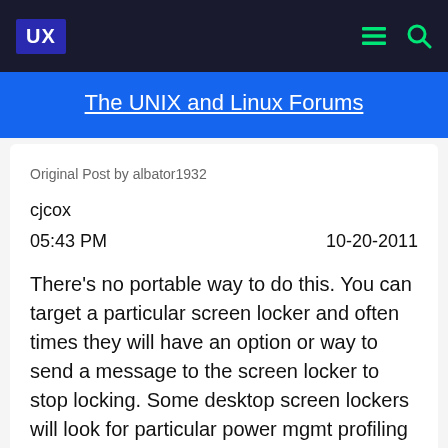UX
The UNIX and Linux Forums
Original Post by albator1932
cjcox
05:43 PM	10-20-2011
There's no portable way to do this. You can target a particular screen locker and often times they will have an option or way to send a message to the screen locker to stop locking. Some desktop screen lockers will look for particular power mgmt profiling to determine if they should lock or not.